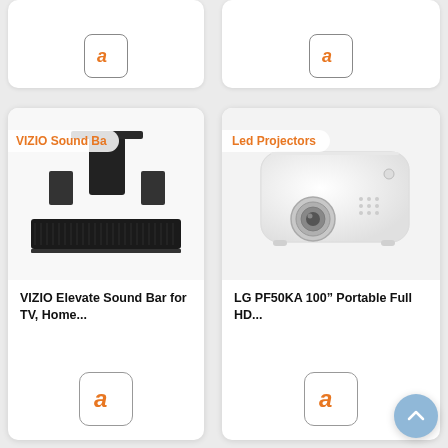[Figure (screenshot): Partial view of two product cards at top with Amazon buttons visible at bottom of cards]
[Figure (screenshot): Product card: VIZIO Elevate Sound Bar for TV, Home... with VIZIO Sound Bar category badge and Amazon buy button]
VIZIO Elevate Sound Bar for TV, Home...
[Figure (screenshot): Product card: LG PF50KA 100" Portable Full HD... with Led Projectors category badge and Amazon buy button]
LG PF50KA 100" Portable Full HD...